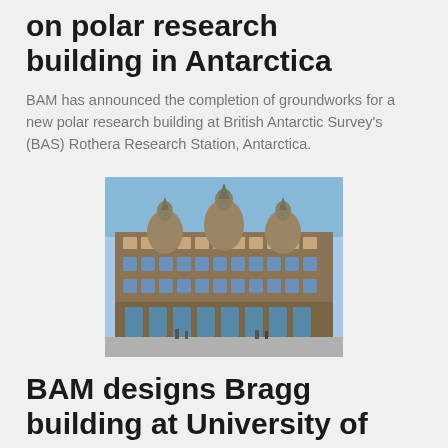on polar research building in Antarctica
BAM has announced the completion of groundworks for a new polar research building at British Antarctic Survey's (BAS) Rothera Research Station, Antarctica.
[Figure (photo): Photograph of a large ornate historic stone building, likely on a city street corner, with blue sky background]
BAM designs Bragg building at University of Leeds
Construction company BAM has built and formally handed over a new teaching and research facility for the